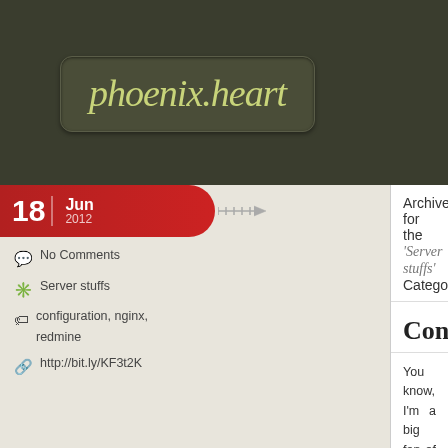phoenix.heart
Archive for the 'Server stuffs' Category
18 Jun 2012
No Comments
Server stuffs
configuration, nginx, redmine
http://bit.ly/KF3t2K
Configure nginx to serve dow
You know, I'm a big fan of nginx. Lately I've management tool too, and it's really, really enough! Of course redmine is written in Rub setting up is pretty much non-sweat. Once it's
More »
1 Mar 2010
13 Comments »
Featured, Server stuffs
configure, kohana,
How to configure nginx to ru
As a web developer I've been using Apache f I've started to move away from Apache in fav It's not that I really need its power, it's tha break my box. It's fairly simple to set up [...]